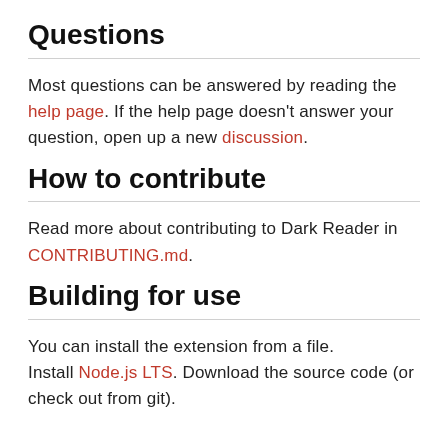Questions
Most questions can be answered by reading the help page. If the help page doesn't answer your question, open up a new discussion.
How to contribute
Read more about contributing to Dark Reader in CONTRIBUTING.md.
Building for use
You can install the extension from a file. Install Node.js LTS. Download the source code (or check out from git).